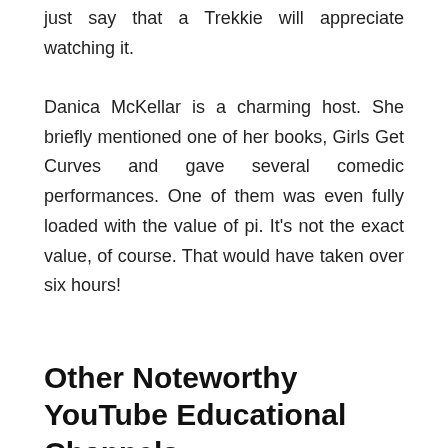just say that a Trekkie will appreciate watching it. Danica McKellar is a charming host. She briefly mentioned one of her books, Girls Get Curves and gave several comedic performances. One of them was even fully loaded with the value of pi. It's not the exact value, of course. That would have taken over six hours!
Other Noteworthy YouTube Educational Channels
YouTube is no longer just about watching a South Korean entertainer doing his trademark horse dance move or gawking at Miley Cyrus twerking on Robin Thicke. It has taken things to a whole different level. These days, it has